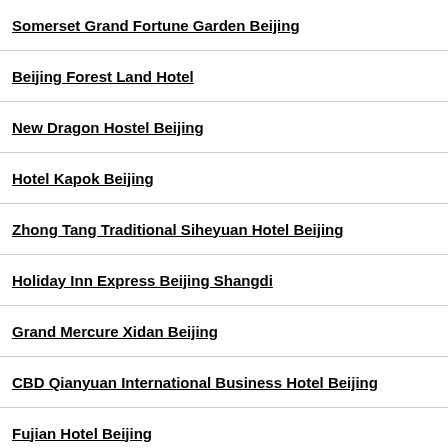Somerset Grand Fortune Garden Beijing
Beijing Forest Land Hotel
New Dragon Hostel Beijing
Hotel Kapok Beijing
Zhong Tang Traditional Siheyuan Hotel Beijing
Holiday Inn Express Beijing Shangdi
Grand Mercure Xidan Beijing
CBD Qianyuan International Business Hotel Beijing
Fujian Hotel Beijing
Xinhai Jinjiang Hotel Beijing
Shanshui Trends Hotel Beijing (Shaoyaoju)
City Home Beijing